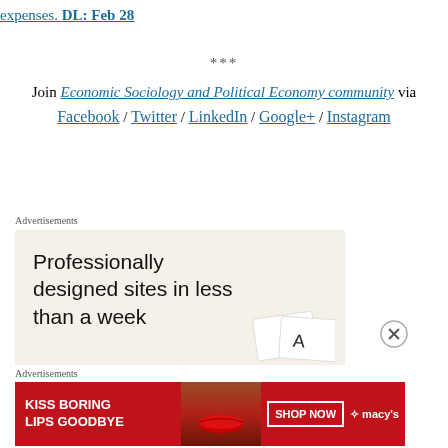expenses. DL: Feb 28
***
Join Economic Sociology and Political Economy community via Facebook / Twitter / LinkedIn / Google+ / Instagram
[Figure (other): Advertisement banner: 'Professionally designed sites in less than a week' on beige background with design mockup cards]
[Figure (other): Advertisement banner: 'KISS BORING LIPS GOODBYE SHOP NOW macys' with woman's face in red lipstick on red/dark background]